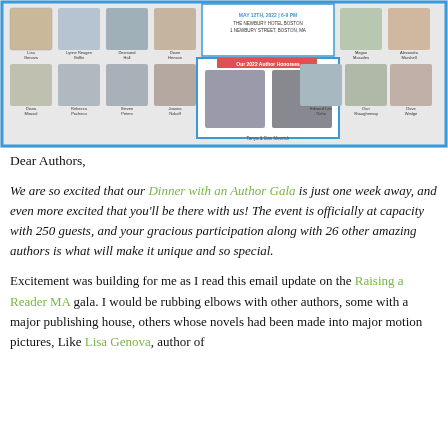[Figure (photo): Event banner for Dinner with an Author Gala, May 12th 2022, 6-9 PM, The Newbury Hotel Boston, 1 Newbury Street, Boston MA. Shows a grid of author headshots with a central highlighted box showing Tanya & Dan Mezrich as 2022 Author Honorees. Authors pictured include Lisa Genova, Lynne Reagen Griffin, Desmond Hall, Diane Henson, Megan Huculak, Alexandra Marshall, William Martin, Nancy Malkoff, Diana Mirasol, Rebecca Pacheco, Steven Peters, Joanna Rakoff, Edward Lee Ochs, Dan Shaughnessy, Dave Wedge, James Walsh.]
Dear Authors,
We are so excited that our Dinner with an Author Gala is just one week away, and even more excited that you'll be there with us! The event is officially at capacity with 250 guests, and your gracious participation along with 26 other amazing authors is what will make it unique and so special.
Excitement was building for me as I read this email update on the Raising a Reader MA gala. I would be rubbing elbows with other authors, some with a major publishing house, others whose novels had been made into major motion pictures, Like Lisa Genova, author of